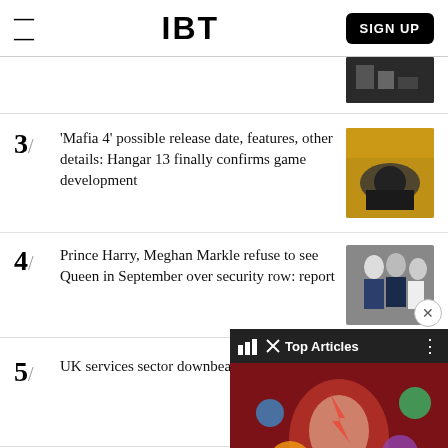IBT | SIGN UP
[Figure (photo): Partial thumbnail of a news article image at top, partially cropped]
3/ 'Mafia 4' possible release date, features, other details: Hangar 13 finally confirms game development
4/ Prince Harry, Meghan Markle refuse to see Queen in September over security row: report
5/ UK services sector downbeat in [costs] - CBI
[Figure (screenshot): Overlay panel showing 'Top Articles' with 'NewSpiderGenus,Se...' title over a colorful face artwork image]